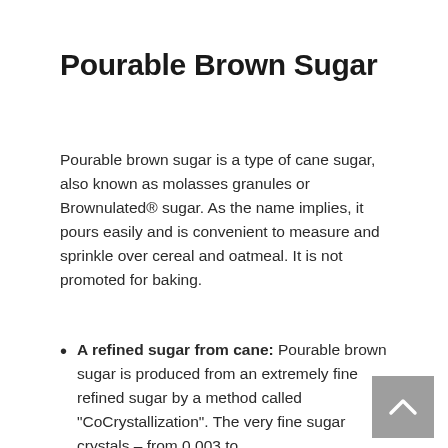Pourable Brown Sugar
Pourable brown sugar is a type of cane sugar, also known as molasses granules or Brownulated® sugar. As the name implies, it pours easily and is convenient to measure and sprinkle over cereal and oatmeal. It is not promoted for baking.
A refined sugar from cane: Pourable brown sugar is produced from an extremely fine refined sugar by a method called "CoCrystallization". The very fine sugar crystals – from 0.003 to